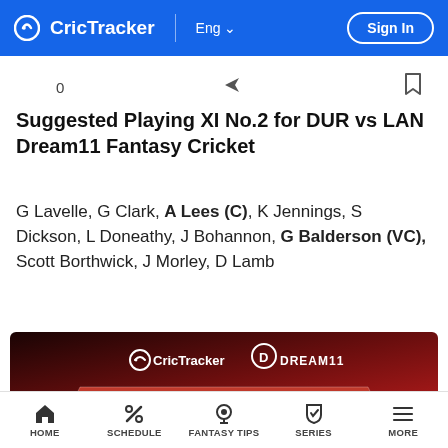CricTracker | Eng  Sign In
Suggested Playing XI No.2 for DUR vs LAN Dream11 Fantasy Cricket
G Lavelle, G Clark, A Lees (C), K Jennings, S Dickson, L Doneathy, J Bohannon, G Balderson (VC), Scott Borthwick, J Morley, D Lamb
[Figure (illustration): CricTracker and Dream11 fantasy tips promotional banner with red gradient background and 'FANTASY TIPS' label]
HOME  SCHEDULE  FANTASY TIPS  SERIES  MORE